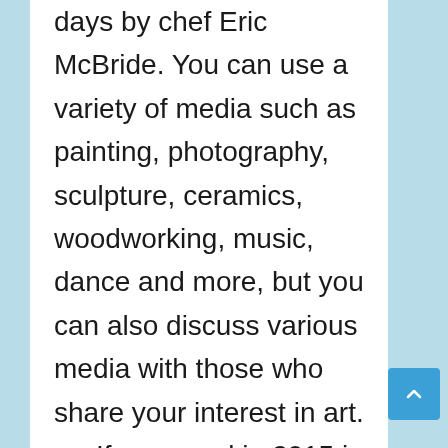days by chef Eric McBride. You can use a variety of media such as painting, photography, sculpture, ceramics, woodworking, music, dance and more, but you can also discuss various media with those who share your interest in art.

If your goal in 2015 is to become a more creative and cultured individual, then that's for you. The Ohio Celtic Festival will take place in East Lake Ohio over the weekend of July 4-5, 2015. In its first year, the event attracted almost 10,000 visitors and began with an Irish themed festival on Saturday 5th